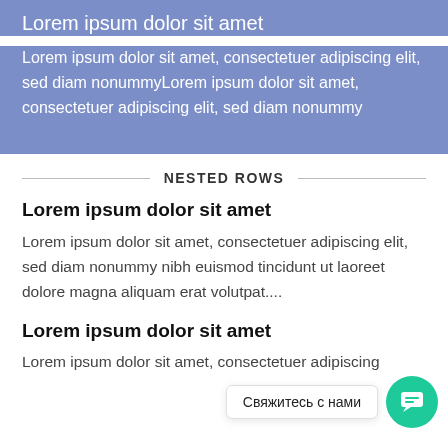Lorem ipsum dolor sit amet
Lorem ipsum dolor sit amet, consectetuer adipiscing elit, sed diam nonummyLorem ipsum dolor sit amet, consectetuer adipiscing elit, sed diam nonummy
NESTED ROWS
Lorem ipsum dolor sit amet
Lorem ipsum dolor sit amet, consectetuer adipiscing elit, sed diam nonummy nibh euismod tincidunt ut laoreet dolore magna aliquam erat volutpat....
Lorem ipsum dolor sit amet
Lorem ipsum dolor sit amet, consectetuer adipiscing